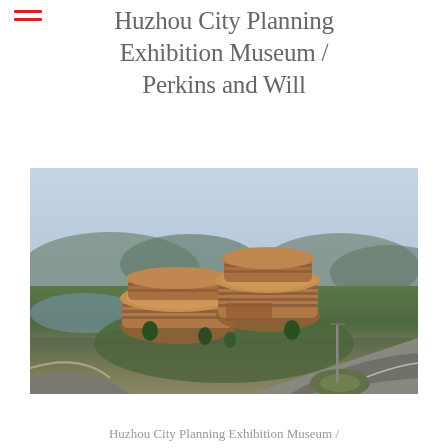Huzhou City Planning Exhibition Museum / Perkins and Will
[Figure (photo): Aerial view of the Huzhou City Planning Exhibition Museum, showing two connected elliptical copper-clad multi-story buildings surrounded by green landscaping, water features, curved roadways, and mountains in the background under a hazy sky.]
Huzhou City Planning Exhibition Museum /